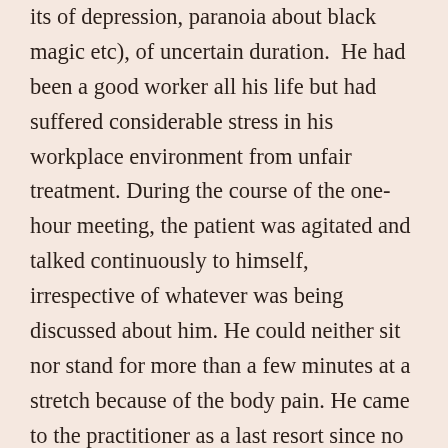its of depression, paranoia about black magic etc), of uncertain duration. He had been a good worker all his life but had suffered considerable stress in his workplace environment from unfair treatment. During the course of the one-hour meeting, the patient was agitated and talked continuously to himself, irrespective of whatever was being discussed about him. He could neither sit nor stand for more than a few minutes at a stretch because of the body pain. He came to the practitioner as a last resort since no prescription medicines including painkillers seemed to help. He kept pleading with folded hands for some relief.
The patient was given: